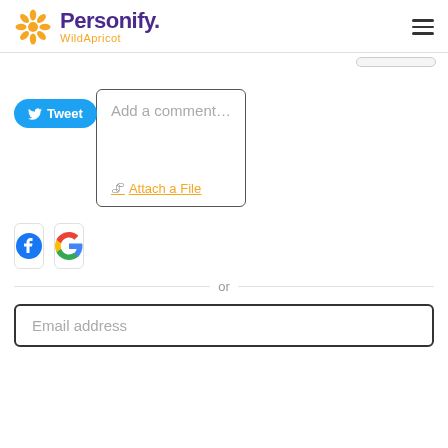[Figure (logo): Personify WildApricot logo with orange sunburst icon and purple Personify text, orange WildApricot subtext]
[Figure (screenshot): Hamburger menu icon (three horizontal lines)]
[Figure (screenshot): Partial scrollbar/button hint in top right]
[Figure (screenshot): Blue Tweet button with Twitter bird icon]
[Figure (screenshot): Comment text area with placeholder 'Add a comment...' and 'Attach a File' link]
[Figure (screenshot): Facebook icon button (rounded square)]
[Figure (screenshot): Google icon button (G logo)]
or
[Figure (screenshot): Email address input field with border]